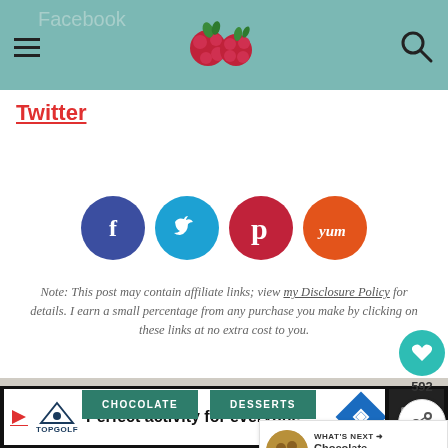Facebook [logo] [search icon]
Twitter
[Figure (other): Social sharing buttons: Facebook (dark blue), Twitter (light blue), Pinterest (red), Yummly (orange)]
Note: This post may contain affiliate links; view my Disclosure Policy for details. I earn a small percentage from any purchase you make by clicking on these links at no extra cost to you.
CHOCOLATE
DESSERTS
posted by LIZ BERG on JULY 6, 2021
50 COMMENTS // LEAVE A COMMENT
[Figure (other): WHAT'S NEXT arrow - Chocolate Brownie...]
Perfect activity for everyone Topgolf [advertisement]